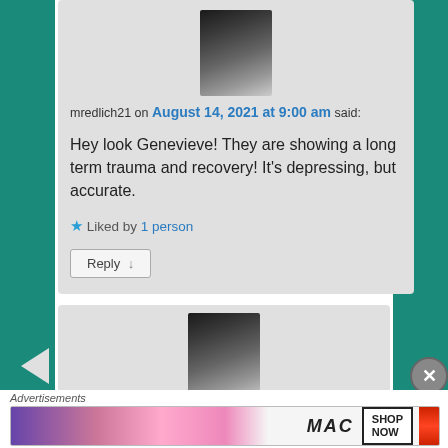[Figure (photo): User avatar photo of a man in dark jacket]
mredlich21 on August 14, 2021 at 9:00 am said:
Hey look Genevieve! They are showing a long term trauma and recovery! It's depressing, but accurate.
★ Liked by 1 person
Reply ↓
[Figure (photo): Second user avatar photo of a man]
Advertisements
[Figure (photo): MAC cosmetics advertisement banner with lipsticks, MAC logo, and Shop Now button]